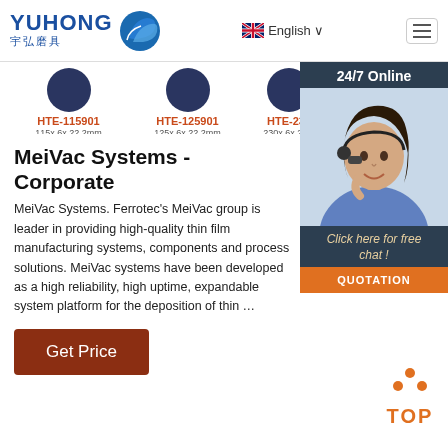YUHONG 宇弘磨具 | English | Menu
[Figure (screenshot): Product listing strip showing grinding discs: HTE-115901 (115x 6x 22.2mm), HTE-125901 (125x 6x 22.2mm), HTE-230... (230x 6x 22...)]
[Figure (photo): 24/7 Online chat widget with a customer service representative photo, 'Click here for free chat!' text, and an orange QUOTATION button]
MeiVac Systems - Corporate
MeiVac Systems. Ferrotec's MeiVac group is leader in providing high-quality thin film manufacturing systems, components and process solutions. MeiVac systems have been developed as a high reliability, high uptime, expandable system platform for the deposition of thin …
[Figure (other): Orange TOP back-to-top button with upward arrow dots icon]
Get Price